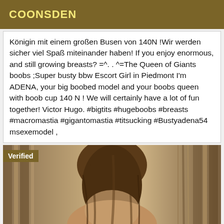COONSDEN
Königin mit einem großen Busen von 140N !Wir werden sicher viel Spaß miteinander haben! If you enjoy enormous, and still growing breasts? =^. . ^=The Queen of Giants boobs ;Super busty bbw Escort Girl in Piedmont I'm ADENA, your big boobed model and your boobs queen with boob cup 140 N ! We will certainly have a lot of fun together! Victor Hugo. #bigtits #hugeboobs #breasts #macromastia #gigantomastia #titsucking #Bustyadena54 msexemodel ,
[Figure (photo): A woman with long brown/blonde hair photographed from behind, standing near curtains. A 'Verified' badge is overlaid on the top-left corner of the image.]